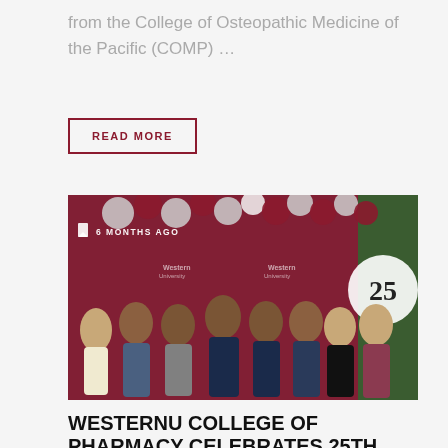from the College of Osteopathic Medicine of the Pacific (COMP) …
READ MORE
[Figure (photo): Group photo of eight people standing in front of a maroon draped backdrop with Western University logos and balloon decorations. A bookmark icon and '6 MONTHS AGO' text overlay appears in the upper left of the image.]
WESTERNU COLLEGE OF PHARMACY CELEBRATES 25TH